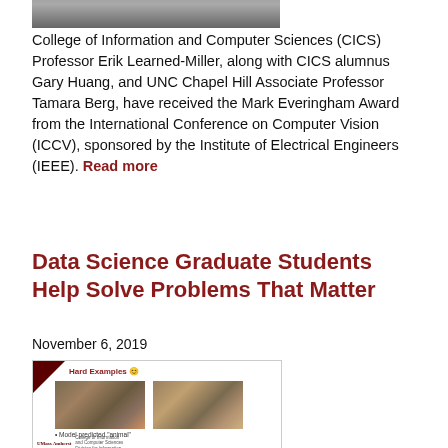[Figure (photo): Top portion of a person in a suit, cropped at the top of the page]
College of Information and Computer Sciences (CICS) Professor Erik Learned-Miller, along with CICS alumnus Gary Huang, and UNC Chapel Hill Associate Professor Tamara Berg, have received the Mark Everingham Award from the International Conference on Computer Vision (ICCV), sponsored by the Institute of Electrical Engineers (IEEE). Read more
Data Science Graduate Students Help Solve Problems That Matter
November 6, 2019
[Figure (screenshot): A presentation slide titled 'Hard Examples' showing two camouflage images of animals in forest settings, with caption 'Model predicted animal' and UMass Amherst College of Information and Computer Sciences footer]